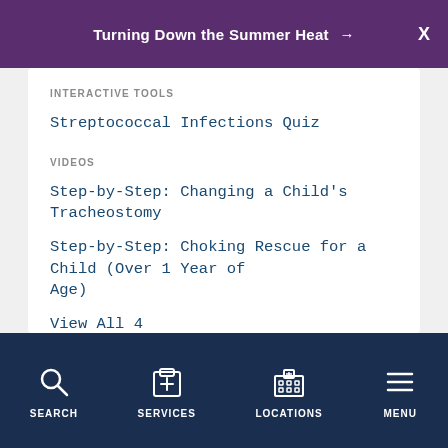Turning Down the Summer Heat →  X
INTERACTIVE TOOLS
Streptococcal Infections Quiz
VIDEOS
Step-by-Step: Changing a Child's Tracheostomy
Step-by-Step: Choking Rescue for a Child (Over 1 Year of Age)
View All 4
SEARCH  SERVICES  LOCATIONS  MENU